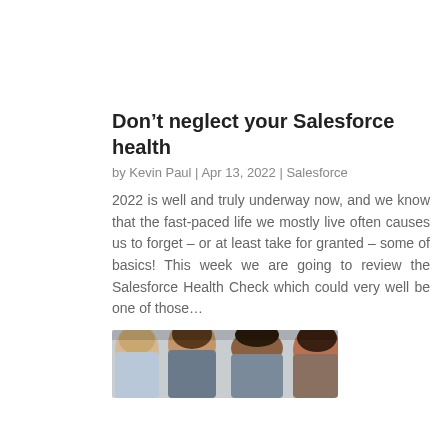Don’t neglect your Salesforce health
by Kevin Paul | Apr 13, 2022 | Salesforce
2022 is well and truly underway now, and we know that the fast-paced life we mostly live often causes us to forget – or at least take for granted – some of basics! This week we are going to review the Salesforce Health Check which could very well be one of those…
[Figure (photo): Group of people, cropped to show faces and heads from above, appearing to be in a collaborative setting]